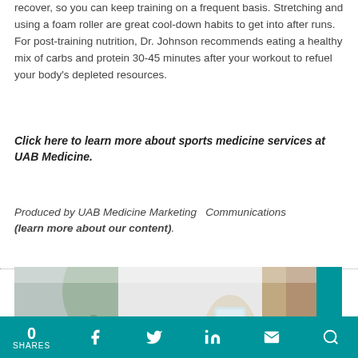recover, so you can keep training on a frequent basis. Stretching and using a foam roller are great cool-down habits to get into after runs. For post-training nutrition, Dr. Johnson recommends eating a healthy mix of carbs and protein 30-45 minutes after your workout to refuel your body's depleted resources.
Click here to learn more about sports medicine services at UAB Medicine.
Produced by UAB Medicine Marketing Communications (learn more about our content).
[Figure (photo): Photo of a person holding a glass of water, with another hand reaching toward them. Background shows a blurred indoor setting with a plant.]
0 SHARES | Facebook | Twitter | LinkedIn | Email | Search | Feedback